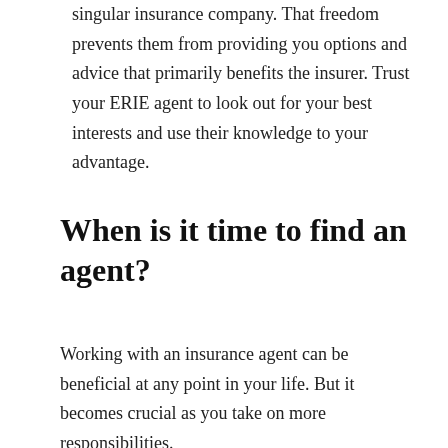singular insurance company. That freedom prevents them from providing you options and advice that primarily benefits the insurer. Trust your ERIE agent to look out for your best interests and use their knowledge to your advantage.
When is it time to find an agent?
Working with an insurance agent can be beneficial at any point in your life. But it becomes crucial as you take on more responsibilities.